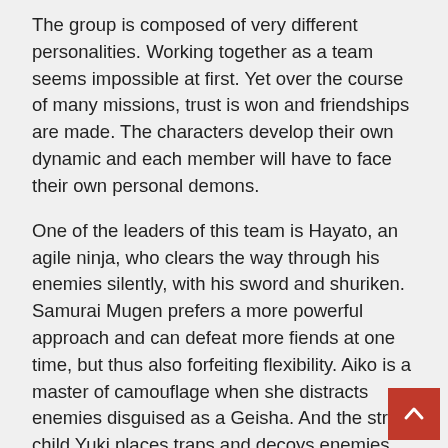The group is composed of very different personalities. Working together as a team seems impossible at first. Yet over the course of many missions, trust is won and friendships are made. The characters develop their own dynamic and each member will have to face their own personal demons.
One of the leaders of this team is Hayato, an agile ninja, who clears the way through his enemies silently, with his sword and shuriken. Samurai Mugen prefers a more powerful approach and can defeat more fiends at one time, but thus also forfeiting flexibility. Aiko is a master of camouflage when she distracts enemies disguised as a Geisha. And the street child Yuki places traps and decoys enemies towards their deadly fate. The mysterious marksman Takuma however, relies on his sniper rifle and takes care of the enemies from a distance.